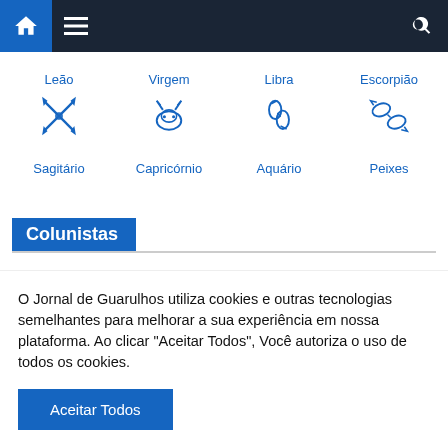[Figure (screenshot): Navigation bar with home icon, hamburger menu, and search icon on dark background]
[Figure (infographic): Zodiac signs grid row 1: Leão (crossed arrows), Virgem (goat head), Libra (chains/scales), Escorpião (fish/scorpio)]
[Figure (infographic): Zodiac signs grid row 2: Sagitário, Capricórnio, Aquário, Peixes]
Colunistas
O Jornal de Guarulhos utiliza cookies e outras tecnologias semelhantes para melhorar a sua experiência em nossa plataforma. Ao clicar "Aceitar Todos", Você autoriza o uso de todos os cookies.
Aceitar Todos